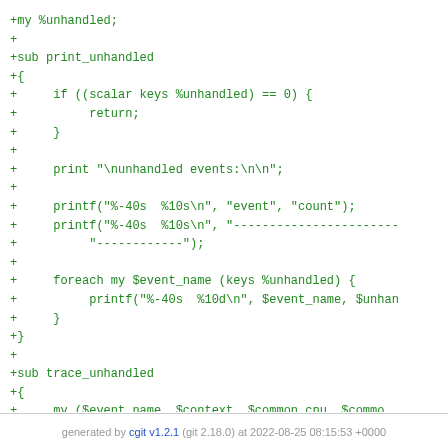+my %unhandled;
+
+sub print_unhandled
+{
+     if ((scalar keys %unhandled) == 0) {
+          return;
+     }
+
+     print "\nunhandled events:\n\n";
+
+     printf("%-40s  %10s\n", "event", "count");
+     printf("%-40s  %10s\n", "-----------------------
+          "------------");
+
+     foreach my $event_name (keys %unhandled) {
+          printf("%-40s  %10d\n", $event_name, $unhan
+     }
+}
+
+sub trace_unhandled
+{
+     my ($event_name, $context, $common_cpu, $commo
+          $common_pid, $common_comm) = @_;
+
+     $unhandled{$event_name}++;
+}
generated by cgit v1.2.1 (git 2.18.0) at 2022-08-25 08:15:53 +0000